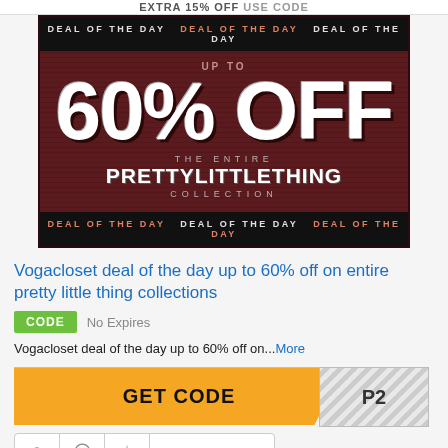[Figure (infographic): Deal of the day promotional banner for Vogacloset showing 'UP TO 60% OFF THE ENTIRE PRETTYLITTLETHING COLLECTION' on a dark red striped background with 'DEAL OF THE DAY' repeated in header and footer bars.]
Vogacloset deal of the day up to 60% off on entire pretty little thing collections
CODE   No Expires
Vogacloset deal of the day up to 60% off on...More
GET CODE  P2
100% SUCCESS